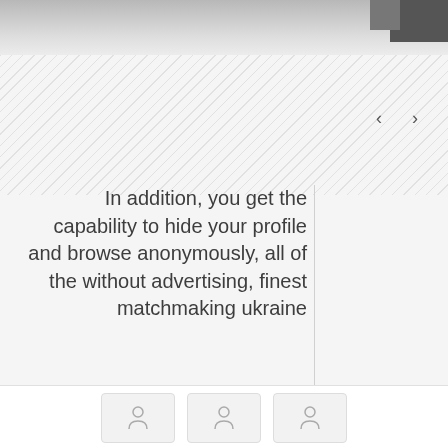[Figure (photo): Top area showing a partially visible photo with gray/dark tones fading into a diagonal stripe pattern background]
In addition, you get the capability to hide your profile and browse anonymously, all of the without advertising, finest matchmaking ukraine
[Figure (infographic): Bottom bar with three icon boxes showing person/profile icons]